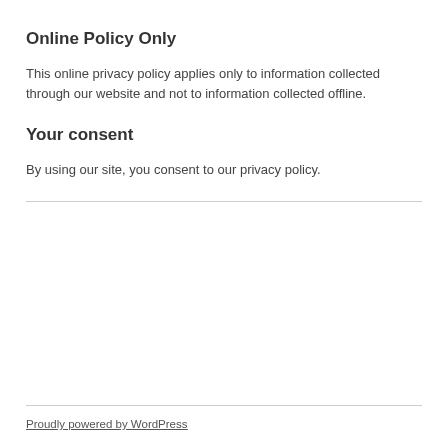Online Policy Only
This online privacy policy applies only to information collected through our website and not to information collected offline.
Your consent
By using our site, you consent to our privacy policy.
Proudly powered by WordPress